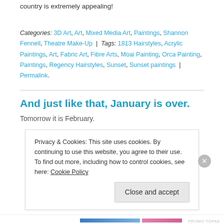country is extremely appealing!
Categories: 3D Art, Art, Mixed Media Art, Paintings, Shannon Fennell, Theatre Make-Up | Tags: 1813 Hairstyles, Acrylic Paintings, Art, Fabric Art, Fibre Arts, Moai Painting, Orca Painting, Paintings, Regency Hairstyles, Sunset, Sunset paintings | Permalink.
And just like that, January is over.
Tomorrow it is February.
Privacy & Cookies: This site uses cookies. By continuing to use this website, you agree to their use. To find out more, including how to control cookies, see here: Cookie Policy
Close and accept